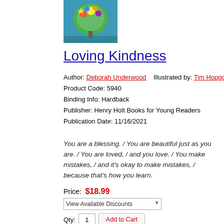[Figure (illustration): Book cover for 'Loving Kindness' featuring colorful illustrated figures with plants and animals on a teal/blue background]
Loving Kindness
Author: Deborah Underwood   Illustrated by: Tim Hopgood
Product Code: 5940
Binding Info: Hardback
Publisher: Henry Holt Books for Young Readers
Publication Date: 11/16/2021
You are a blessing. / You are beautiful just as you are. / You are loved, / and you love. / You make mistakes, / and it's okay to make mistakes, / because that's how you learn.
Price: $18.99
View Available Discounts
Qty: 1  Add to Cart